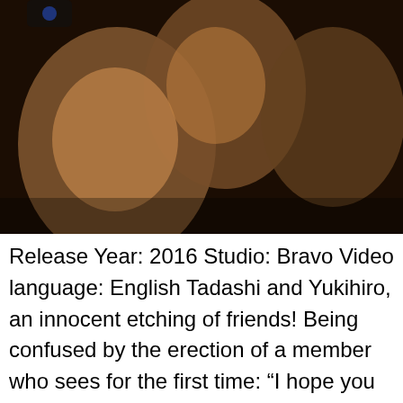[Figure (photo): Photo of multiple shirtless men in a dark setting]
Release Year: 2016 Studio: Bravo Video language: English Tadashi and Yukihiro, an innocent etching of friends! Being confused by the erection of a member who sees for the first time: “I hope you enjoy it!” Tadashi who works with the waist is obligatory to poke a gojiman! –